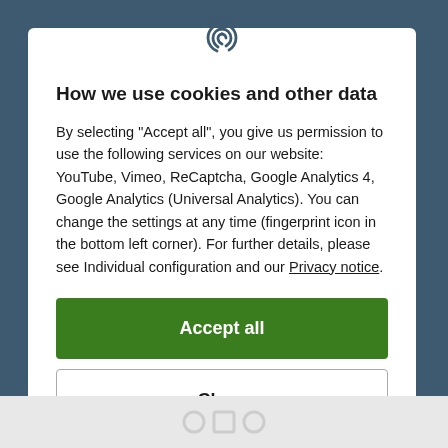How we use cookies and other data
By selecting "Accept all", you give us permission to use the following services on our website: YouTube, Vimeo, ReCaptcha, Google Analytics 4, Google Analytics (Universal Analytics). You can change the settings at any time (fingerprint icon in the bottom left corner). For further details, please see Individual configuration and our Privacy notice.
Accept all
Close
Configuration